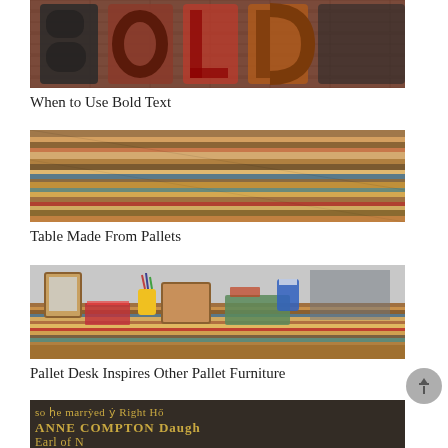[Figure (photo): Close-up of large bold wooden/metal letters spelling BOLD against a brick background]
When to Use Bold Text
[Figure (photo): Close-up of a table surface made from multicolored reclaimed pallet wood planks]
Table Made From Pallets
[Figure (photo): A desk made from multicolored pallet wood with various items on top including books, pencils, and containers]
Pallet Desk Inspires Other Pallet Furniture
[Figure (photo): Close-up of old engraved stone text reading: so he marryed y Right H, ANNE COMPTON Daugh, Earl of N]